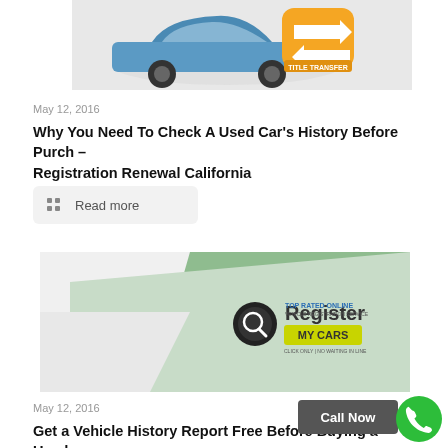[Figure (photo): A blue car with a yellow 'Title Transfer' icon overlay featuring bidirectional arrows]
May 12, 2016
Why You Need To Check A Used Car's History Before Purch – Registration Renewal California
Read more
[Figure (photo): Register My Cars logo on a green angular background]
May 12, 2016
Get a Vehicle History Report Free Before Buying a Used –